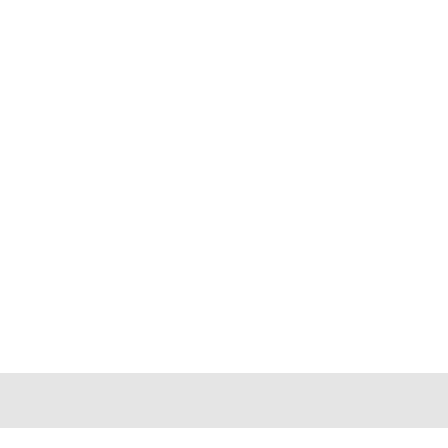Email to you.
[Figure (screenshot): A UI element showing a bordered box with 'AI' text partially visible, on a light gray rounded background]
Sub
Enter payment information and $100 application fee. The form...